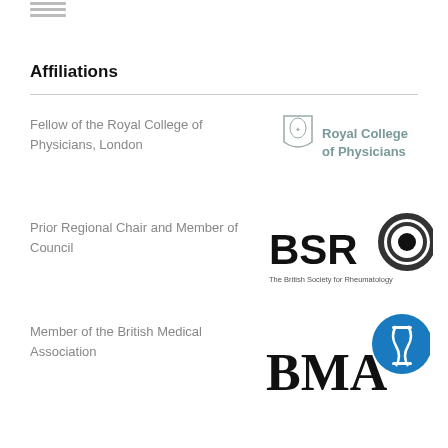[Figure (logo): Small grid/menu icon at top left]
Affiliations
Fellow of the Royal College of Physicians, London
[Figure (logo): Royal College of Physicians logo with shield crest and text 'Royal College of Physicians']
Prior Regional Chair and Member of Council
[Figure (logo): BSR logo - The British Society for Rheumatology, bold letters BSR with circular motif]
Member of the British Medical Association
[Figure (logo): BMA logo - British Medical Association with blue circular snake emblem]